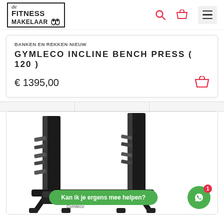[Figure (logo): De Fitness Makelaar logo in a bordered box with italic 'de' and bold 'FITNESS MAKELAAR' text]
BANKEN EN REKKEN NIEUW
GYMLECO INCLINE BENCH PRESS ( 120 )
€ 1395,00
[Figure (photo): Gymleco incline bench press machine photographed from front-side angle, black steel frame with weight pegs on two vertical uprights, bench seat visible at bottom]